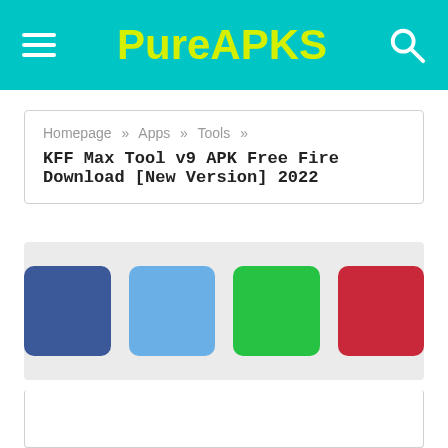PureAPKS
Homepage » Apps » Tools »
KFF Max Tool v9 APK Free Fire Download [New Version] 2022
[Figure (infographic): Social share buttons: dark blue (Facebook), light blue (Twitter), green (WhatsApp), red (Pinterest)]